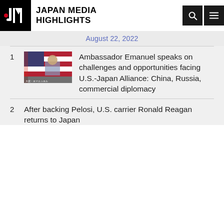JAPAN MEDIA HIGHLIGHTS
August 22, 2022
1  Ambassador Emanuel speaks on challenges and opportunities facing U.S.-Japan Alliance: China, Russia, commercial diplomacy
2  After backing Pelosi, U.S. carrier Ronald Reagan returns to Japan